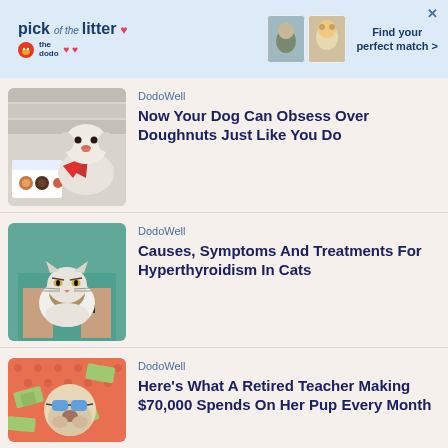[Figure (infographic): Advertisement banner for 'pick of the litter' by The Dodo — showing pet photos and 'Find your perfect match >' text]
DodoWell
Now Your Dog Can Obsess Over Doughnuts Just Like You Do
[Figure (photo): Small white fluffy dog wearing a red bandana sitting next to a box of doughnuts]
DodoWell
Causes, Symptoms And Treatments For Hyperthyroidism In Cats
[Figure (photo): A grumpy-looking long-haired cat being held by a person in teal scrubs]
DodoWell
Here's What A Retired Teacher Making $70,000 Spends On Her Pup Every Month
[Figure (photo): A bulldog wearing sunglasses surrounded by money bills on a pink/coral background]